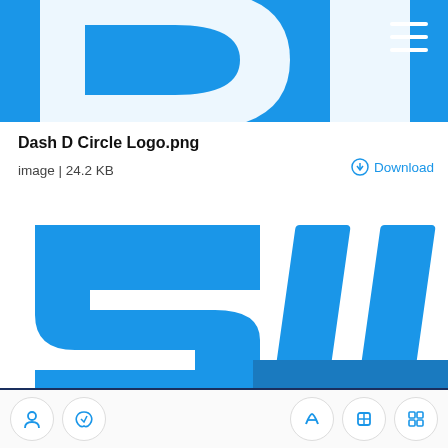[Figure (logo): Dash D Circle Logo image — blue background with white D letter shape, partially cropped. Hamburger menu icon in top right corner.]
Dash D Circle Logo.png
image | 24.2 KB
Download
[Figure (logo): Dash Digital Cash Logo image — white background with blue stylized 'DASH' lettering, partially cropped showing S, I, I characters]
Dash Digital Cash Logo.png
image | 37.1 KB
Download